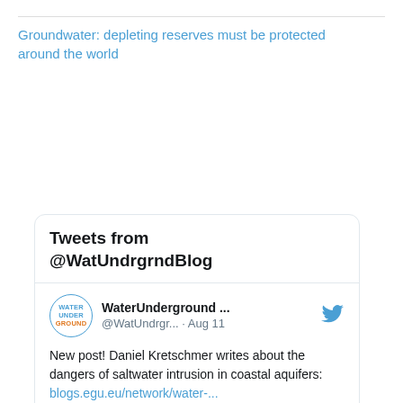Groundwater: depleting reserves must be protected around the world
Tweets from @WatUndrgrndBlog
[Figure (screenshot): Tweet from @WatUndrgrndBlog (WaterUnderground) dated Aug 11. Text: 'New post! Daniel Kretschmer writes about the dangers of saltwater intrusion in coastal aquifers: blogs.egu.eu/network/water-...' with a link preview card showing blogs.egu.eu, 'Why so salty? Coastal groundwat...']